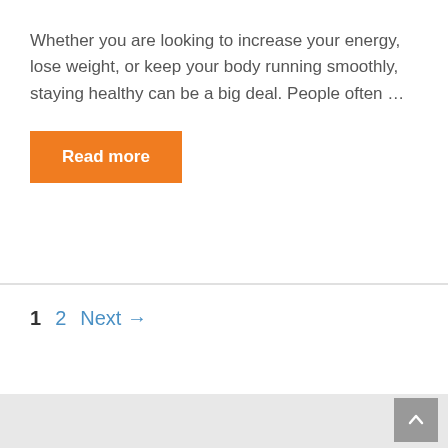Whether you are looking to increase your energy, lose weight, or keep your body running smoothly, staying healthy can be a big deal. People often …
Read more
1  2  Next →